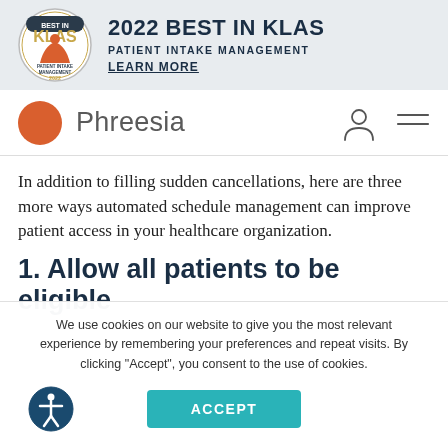[Figure (logo): 2022 Best in KLAS badge - Patient Intake Management award seal with KLAS branding]
2022 BEST IN KLAS
PATIENT INTAKE MANAGEMENT
LEARN MORE
[Figure (logo): Phreesia logo with orange circle and navigation icons (person icon and hamburger menu)]
In addition to filling sudden cancellations, here are three more ways automated schedule management can improve patient access in your healthcare organization.
1. Allow all patients to be eligible
We use cookies on our website to give you the most relevant experience by remembering your preferences and repeat visits. By clicking “Accept”, you consent to the use of cookies.
ACCEPT